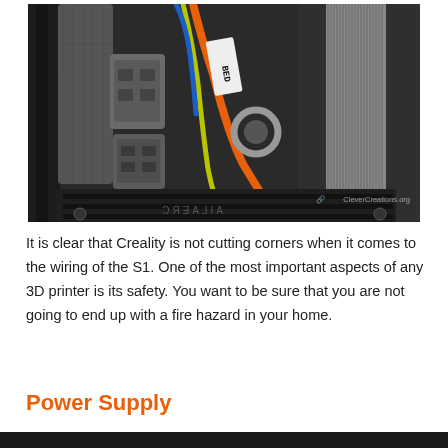[Figure (photo): Close-up photo of 3D printer wiring inside the Creality S1, showing labelled cable bundles including orange, yellow-green, and blue wires, connector blocks, mesh sleeving, a flat ribbon cable, and a label reading 'BED'. Watermark reads 'CleverCreations.org'.]
It is clear that Creality is not cutting corners when it comes to the wiring of the S1. One of the most important aspects of any 3D printer is its safety. You want to be sure that you are not going to end up with a fire hazard in your home.
Power Supply